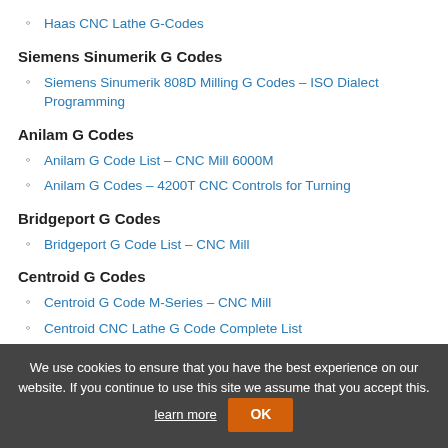Haas CNC Lathe G-Codes
Siemens Sinumerik G Codes
Siemens Sinumerik 808D Milling G Codes – ISO Dialect Programming
Anilam G Codes
Anilam G Code List – CNC Mill 6000M
Anilam G Codes – 4200T CNC Controls for Turning
Bridgeport G Codes
Bridgeport G Code List – CNC Mill
Centroid G Codes
Centroid G Code M-Series – CNC Mill
Centroid CNC Lathe G Code Complete List
We use cookies to ensure that you have the best experience on our website. If you continue to use this site we assume that you accept this. learn more OK